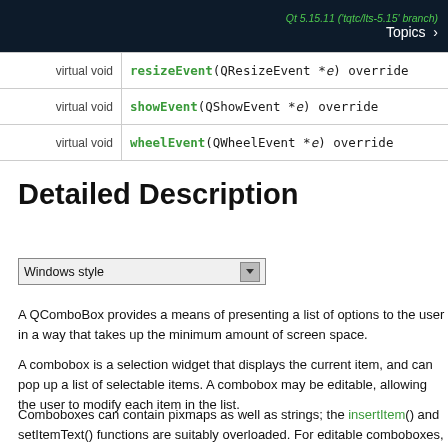Qt 5.15.11 ('tqtc/lts-5.15' branch)  Topics
|  |  |
| --- | --- |
| virtual void | resizeEvent(QResizeEvent *e) override |
| virtual void | showEvent(QShowEvent *e) override |
| virtual void | wheelEvent(QWheelEvent *e) override |
Detailed Description
[Figure (screenshot): Windows style combobox dropdown widget]
A QComboBox provides a means of presenting a list of options to the user in a way that takes up the minimum amount of screen space.
A combobox is a selection widget that displays the current item, and can pop up a list of selectable items. A combobox may be editable, allowing the user to modify each item in the list.
Comboboxes can contain pixmaps as well as strings; the insertItem() and setItemText() functions are suitably overloaded. For editable comboboxes, the function clearEditText() is provided, to clear the displayed string without changing the combobox's contents.